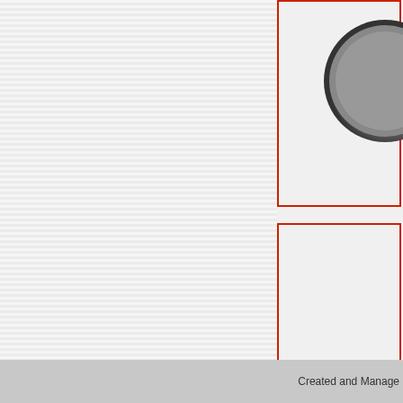[Figure (photo): Coin image top-right (partially visible), obverse side of a Half Groat]
Denomination : El
Half Groat (2 Pence)
Reference :
Spink 2586
KM 3
BCW 1-1/1-a
North 2016
[Figure (photo): Coin image bottom-right (partially visible), reverse side]
Created and Manage